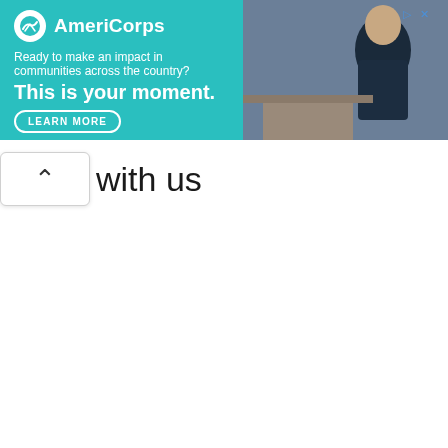[Figure (infographic): AmeriCorps advertisement banner with teal background. Left side shows AmeriCorps logo (white circle with mountain/wave icon and 'AmeriCorps' text), tagline 'Ready to make an impact in communities across the country?', bold headline 'This is your moment.' and a 'LEARN MORE' button. Right side shows a photo of a person in a navy uniform.]
with us